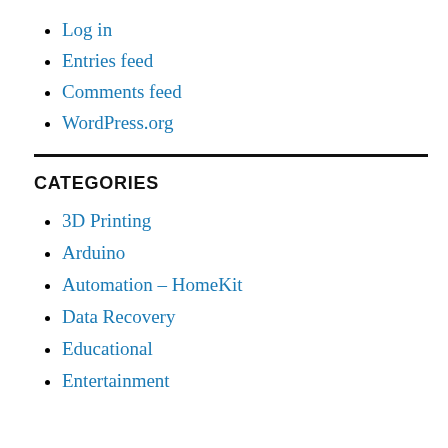Log in
Entries feed
Comments feed
WordPress.org
CATEGORIES
3D Printing
Arduino
Automation – HomeKit
Data Recovery
Educational
Entertainment